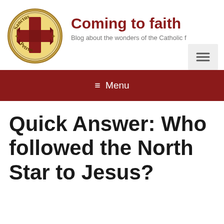[Figure (logo): Sanctus Petrus circular logo with a red Templar cross in the center, gold border, medieval-style text reading 'Sanctus' at top and 'Petrus' at bottom]
Coming to faith
Blog about the wonders of the Catholic f
[Figure (other): Hamburger menu icon (three horizontal lines) in a light gray box]
≡ Menu
Quick Answer: Who followed the North Star to Jesus?